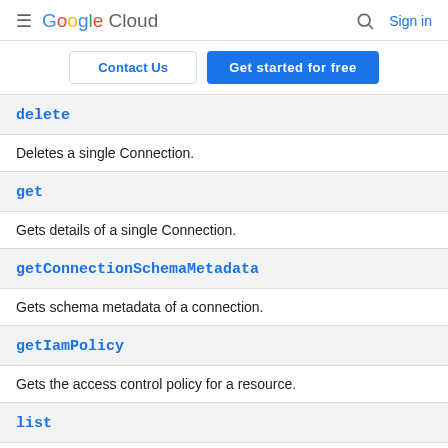Google Cloud  Sign in
Contact Us  Get started for free
delete
Deletes a single Connection.
get
Gets details of a single Connection.
getConnectionSchemaMetadata
Gets schema metadata of a connection.
getIamPolicy
Gets the access control policy for a resource.
list
Lists Connections in a given project and location.